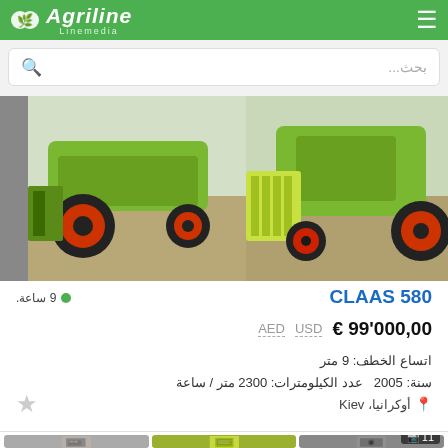Agriline Linemedia
بحث...
[Figure (photo): Two photos of a CLAAS 580 combine harvester, green with red wheels, shown from the side and front]
CLAAS 580
9 ساعة.
€ 99'000,00  USD  AED
اتساع الخطف: 9 متر
سنة: 2005  عدد الكيلومترات: 2300 متر / ساعة
أوكرانيا، Kiev
[Figure (photo): Three small thumbnail photos of agricultural machinery parts at the bottom of the page, the rightmost showing a camera icon with number 11]